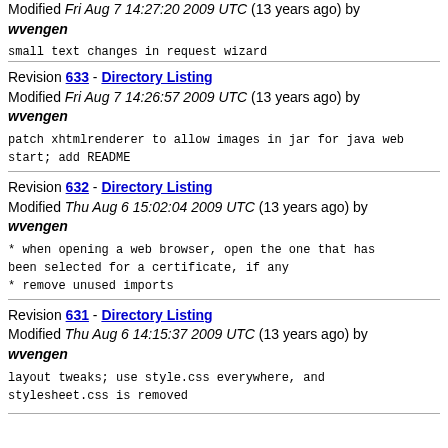Modified Fri Aug 7 14:27:20 2009 UTC (13 years ago) by wvengen
small text changes in request wizard
Revision 633 - Directory Listing
Modified Fri Aug 7 14:26:57 2009 UTC (13 years ago) by wvengen
patch xhtmlrenderer to allow images in jar for java web start; add README
Revision 632 - Directory Listing
Modified Thu Aug 6 15:02:04 2009 UTC (13 years ago) by wvengen
* when opening a web browser, open the one that has been selected for a certificate, if any
* remove unused imports
Revision 631 - Directory Listing
Modified Thu Aug 6 14:15:37 2009 UTC (13 years ago) by wvengen
layout tweaks; use style.css everywhere, and stylesheet.css is removed